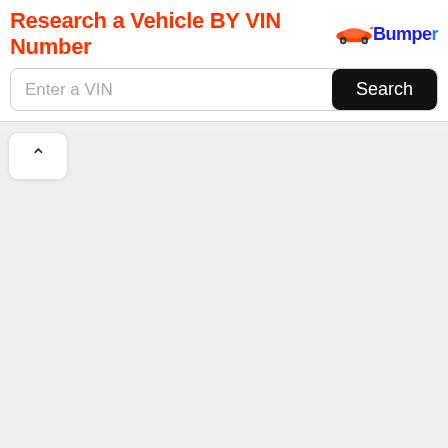[Figure (screenshot): Bumper VIN lookup banner with orange bold title 'Research a Vehicle BY VIN Number', Bumper logo with car icon, a text input field placeholder 'Enter a VIN', and a black rounded 'Search' button]
[Figure (other): A white rounded collapse/chevron-up tab button on grey background, indicating a collapsible panel]